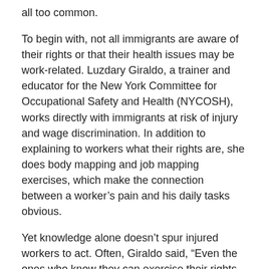all too common.
To begin with, not all immigrants are aware of their rights or that their health issues may be work-related. Luzdary Giraldo, a trainer and educator for the New York Committee for Occupational Safety and Health (NYCOSH), works directly with immigrants at risk of injury and wage discrimination. In addition to explaining to workers what their rights are, she does body mapping and job mapping exercises, which make the connection between a worker’s pain and his daily tasks obvious.
Yet knowledge alone doesn’t spur injured workers to act. Often, Giraldo said, “Even the ones who know they can exercise their rights don’t do it.”
Workers’ compensation insurance can be privately purchased by employers or is available from state insurance pools. The cost of insurance is a risk-based